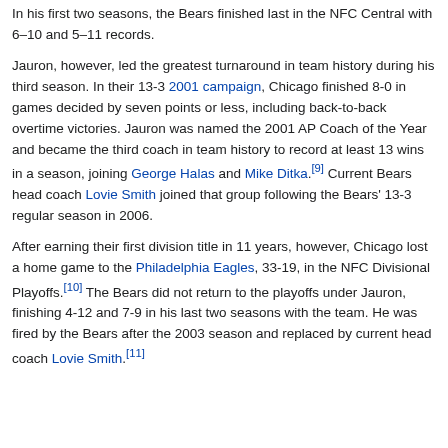In his first two seasons, the Bears finished last in the NFC Central with 6–10 and 5–11 records.
Jauron, however, led the greatest turnaround in team history during his third season. In their 13-3 2001 campaign, Chicago finished 8-0 in games decided by seven points or less, including back-to-back overtime victories. Jauron was named the 2001 AP Coach of the Year and became the third coach in team history to record at least 13 wins in a season, joining George Halas and Mike Ditka.[9] Current Bears head coach Lovie Smith joined that group following the Bears' 13-3 regular season in 2006.
After earning their first division title in 11 years, however, Chicago lost a home game to the Philadelphia Eagles, 33-19, in the NFC Divisional Playoffs.[10] The Bears did not return to the playoffs under Jauron, finishing 4-12 and 7-9 in his last two seasons with the team. He was fired by the Bears after the 2003 season and replaced by current head coach Lovie Smith.[11]